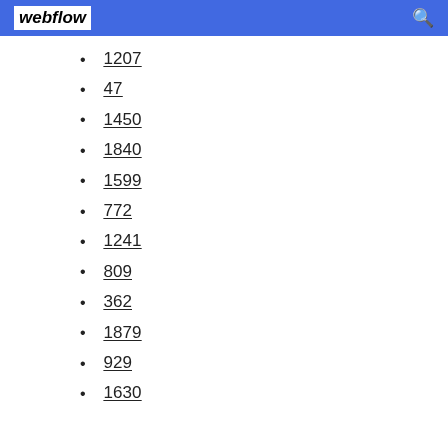webflow
1207
47
1450
1840
1599
772
1241
809
362
1879
929
1630